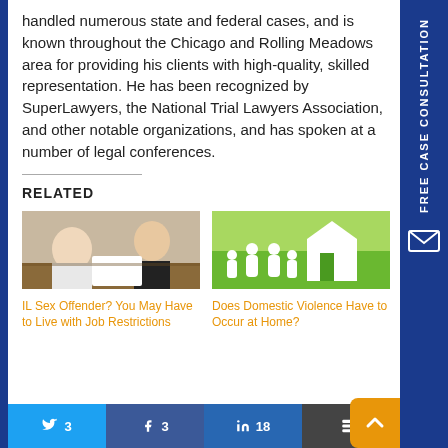handled numerous state and federal cases, and is known throughout the Chicago and Rolling Meadows area for providing his clients with high-quality, skilled representation. He has been recognized by SuperLawyers, the National Trial Lawyers Association, and other notable organizations, and has spoken at a number of legal conferences.
RELATED
[Figure (photo): Photo of a person in a consultation meeting with a professional woman across a desk, reviewing documents]
IL Sex Offender? You May Have to Live with Job Restrictions
[Figure (photo): Photo of paper cutout figures of a family (adults and children) in front of a paper house on green grass]
Does Domestic Violence Have to Occur at Home?